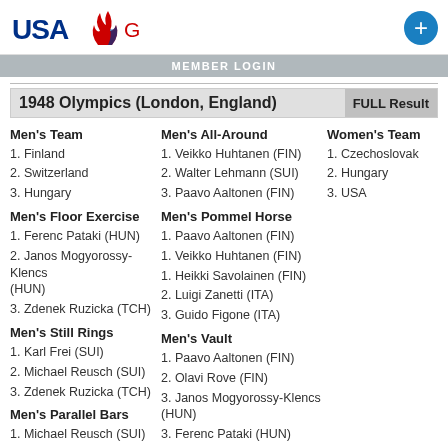USA Gymnastics
MEMBER LOGIN
1948 Olympics (London, England)
FULL Result
Men's Team
1. Finland
2. Switzerland
3. Hungary
Men's Floor Exercise
1. Ferenc Pataki (HUN)
2. Janos Mogyorossy-Klencs (HUN)
3. Zdenek Ruzicka (TCH)
Men's Still Rings
1. Karl Frei (SUI)
2. Michael Reusch (SUI)
3. Zdenek Ruzicka (TCH)
Men's Parallel Bars
1. Michael Reusch (SUI)
2. Veikko Huhtanen (FIN)
3. Christian Kipfer (SUI)
Men's All-Around
1. Veikko Huhtanen (FIN)
2. Walter Lehmann (SUI)
3. Paavo Aaltonen (FIN)
Men's Pommel Horse
1. Paavo Aaltonen (FIN)
1. Veikko Huhtanen (FIN)
1. Heikki Savolainen (FIN)
2. Luigi Zanetti (ITA)
3. Guido Figone (ITA)
Men's Vault
1. Paavo Aaltonen (FIN)
2. Olavi Rove (FIN)
3. Janos Mogyorossy-Klencs (HUN)
3. Ferenc Pataki (HUN)
3. Leo Sotornik (TCH)
Women's Team
1. Czechoslovak
2. Hungary
3. USA